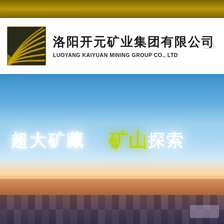洛阳开元矿业集团有限公司
[Figure (logo): Luoyang Kaiyuan Mining Group logo — square emblem with gold concentric arc/wave lines on dark background, alongside Chinese company name '洛阳开元矿业集团有限公司' and English name 'LUOYANG KAIYUAN MINING GROUP CO., LTD']
[Figure (photo): Landscape/scenic photo with sky gradient from blue to warm sunset tones, with overlaid Chinese text in white glow and yellow-green characters reading partial phrase including '矿山', pixelated/blurred bottom section]